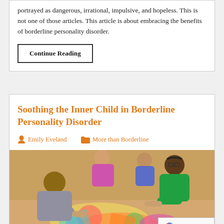portrayed as dangerous, irrational, impulsive, and hopeless. This is not one of those articles. This article is about embracing the benefits of borderline personality disorder.
Continue Reading
Soothing the Inner Child in Borderline Personality Disorder
Emily Eveland   More than Borderline
[Figure (photo): Children and young people engaged in a colorful craft activity, leaning over a table covered in colorful paper/art materials. Scene shows several individuals working together on an art project.]